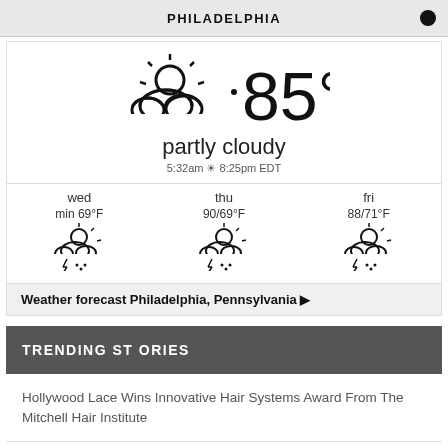PHILADELPHIA
[Figure (infographic): Weather widget showing partly cloudy, 85°F current conditions for Philadelphia with sun rise/set times and 3-day forecast icons for wed (min 69°F, thunderstorm), thu (90/69°F, thunderstorm), fri (88/71°F, thunderstorm)]
Weather forecast Philadelphia, Pennsylvania ▶
TRENDING STORIES
Hollywood Lace Wins Innovative Hair Systems Award From The Mitchell Hair Institute
China bans all E-cig exports